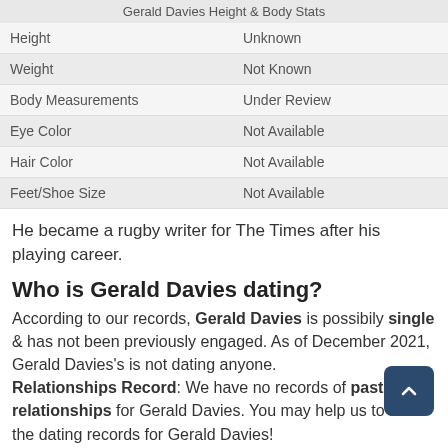|  | Gerald Davies Height & Body Stats |
| --- | --- |
| Height | Unknown |
| Weight | Not Known |
| Body Measurements | Under Review |
| Eye Color | Not Available |
| Hair Color | Not Available |
| Feet/Shoe Size | Not Available |
He became a rugby writer for The Times after his playing career.
Who is Gerald Davies dating?
According to our records, Gerald Davies is possibily single & has not been previously engaged. As of December 2021, Gerald Davies's is not dating anyone.
Relationships Record: We have no records of past relationships for Gerald Davies. You may help us to build the dating records for Gerald Davies!
Facts & Trivia